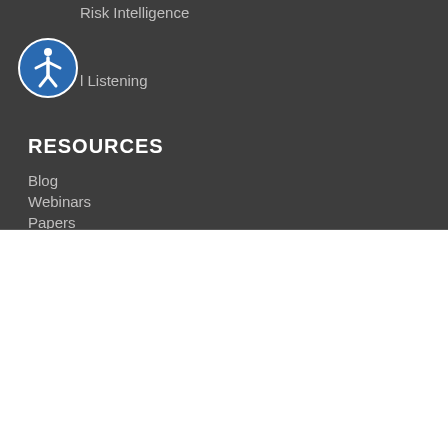Risk Intelligence
l Listening
RESOURCES
Blog
Webinars
Papers
This website stores cookies on your computer. These cookies are used to improve your website experience and provide more personalized services to you, both on this website and through other media. To find out more about the cookies we use, see our Privacy Policy.
Disclaimer: In order to comply with your preferences, we'll have to use just one cookie so that you're not asked to make this choice again.
Cookie Settings   Accept   Decline